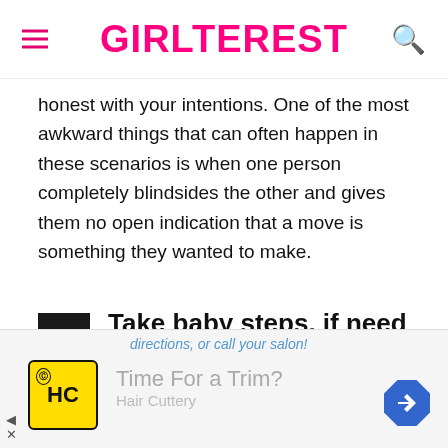GIRLTEREST
honest with your intentions. One of the most awkward things that can often happen in these scenarios is when one person completely blindsides the other and gives them no open indication that a move is something they wanted to make.
7  Take baby steps, if need be.
[Figure (photo): Close-up photo of furniture legs and what appears to be a cat or small animal beneath, shot from a low angle]
[Figure (infographic): Partially visible advertisement banner for Hair Cuttery with text 'directions, or call your salon!' and 'Time For a Trim?' and 'Hair Cuttery' logo]